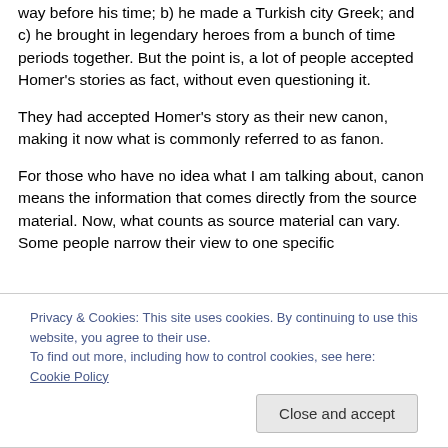way before his time; b) he made a Turkish city Greek; and c) he brought in legendary heroes from a bunch of time periods together. But the point is, a lot of people accepted Homer's stories as fact, without even questioning it.
They had accepted Homer's story as their new canon, making it now what is commonly referred to as fanon.
For those who have no idea what I am talking about, canon means the information that comes directly from the source material. Now, what counts as source material can vary. Some people narrow their view to one specific
Privacy & Cookies: This site uses cookies. By continuing to use this website, you agree to their use.
To find out more, including how to control cookies, see here: Cookie Policy
Close and accept